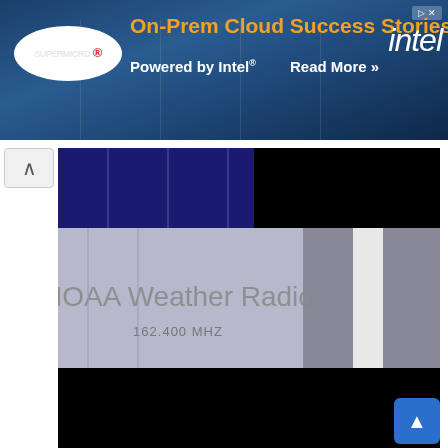[Figure (screenshot): Supermicro advertisement banner: 'On-Prem Cloud Success Stories Powered by Intel® Read More >>' with Intel logo, dark blue server room background]
[Figure (screenshot): NOAA Weather Radio screen showing '162.400 MHZ' text on a TV-like display with blue, grey, and black sections]
Why would you want to do this?
There are several reasons you might want to do this. Here are a few:
1. One of the biggest reasons would be to cut down on the amount of antenna cable you have to use. The less cable you use the less signal